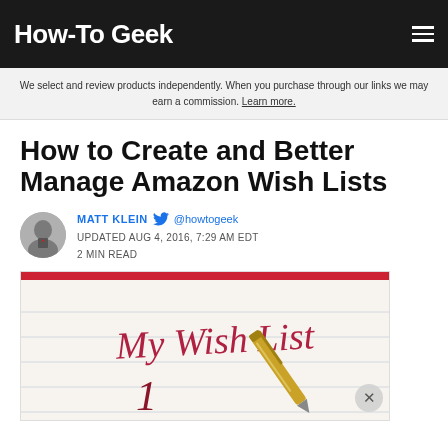How-To Geek
We select and review products independently. When you purchase through our links we may earn a commission. Learn more.
How to Create and Better Manage Amazon Wish Lists
MATT KLEIN @howtogeek
UPDATED AUG 4, 2016, 7:29 AM EDT
2 MIN READ
[Figure (photo): A notebook page with 'My Wish List' written in cursive red handwriting, with a gold pen and the number 1 visible, photographed close-up.]